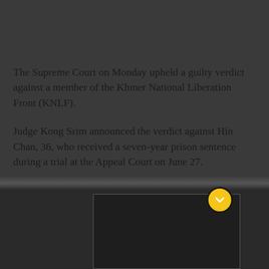The Supreme Court on Monday upheld a guilty verdict against a member of the Khmer National Liberation Front (KNLF).
Judge Kong Srim announced the verdict against Hin Chan, 36, who received a seven-year prison sentence during a trial at the Appeal Court on June 27.
[Figure (other): Video player UI element with a dark background panel and a gold/yellow circular chevron-down button, partially visible at the bottom of the page.]